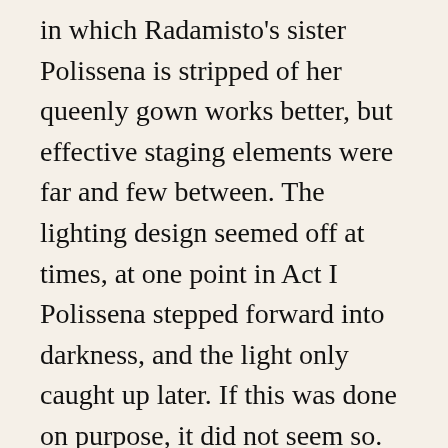in which Radamisto's sister Polissena is stripped of her queenly gown works better, but effective staging elements were far and few between. The lighting design seemed off at times, at one point in Act I Polissena stepped forward into darkness, and the light only caught up later. If this was done on purpose, it did not seem so.

It was hard to get a good read on some of the voices in the cast, as they sounded different in the various locations of the hall and in its different configurations. Mezzo-soprano Wallis Giunta seemed warm and clear in her first vocal appearance as Prince Tigrane, but later on in the act. Likewise bass-baritone Aubrey Allicock's voice had a light, floaty quality to it in the space, he wasn't very threatening as the villain Tiridate. Soprano